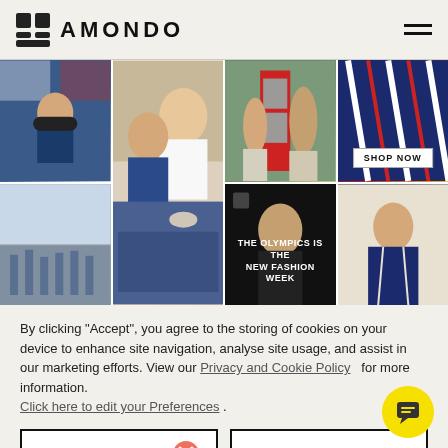AMONDO
[Figure (photo): Photo grid of 7 images showing athletes and Olympic/sports fashion content including team GB athletes, a couple selfie, a red phone box, striped fabric close-up, a crowd scene, a man in black with text 'THE OLYMPICS IS THE NEW FASHION WEEK', and a young male athlete in navy blazer. One image has a 'SHOP NOW' button.]
By clicking “Accept”, you agree to the storing of cookies on your device to enhance site navigation, analyse site usage, and assist in our marketing efforts. View our Privacy and Cookie Policy   for more information.
Click here to edit your Preferences  .
DENY
ACCEPT